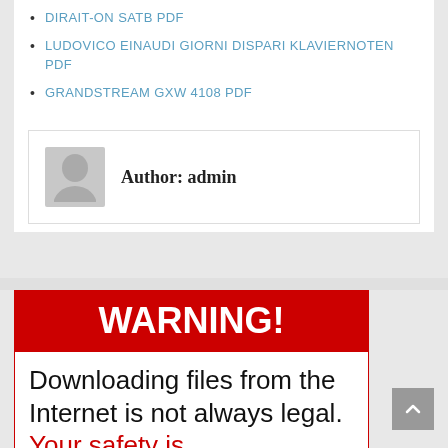DIRAIT-ON SATB PDF
LUDOVICO EINAUDI GIORNI DISPARI KLAVIERNOTEN PDF
GRANDSTREAM GXW 4108 PDF
Author: admin
[Figure (infographic): Warning box with red header 'WARNING!' and body text 'Downloading files from the Internet is not always legal. Your safety is' (cut off)]